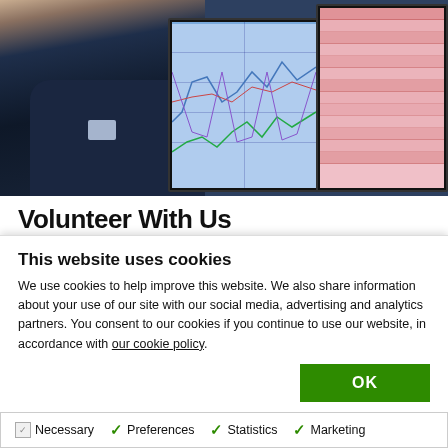[Figure (photo): A person in a dark blue polo shirt viewed from the side, standing in front of two computer monitors displaying medical/physiological data charts and graphs. The left monitor shows blue line charts on a blue background, and the right monitor shows a pink spreadsheet or data table.]
Volunteer With Us
We need human volunteers to take part in our studies. This
This website uses cookies
We use cookies to help improve this website. We also share information about your use of our site with our social media, advertising and analytics partners. You consent to our cookies if you continue to use our website, in accordance with our cookie policy.
OK
Necessary   Preferences   Statistics   Marketing